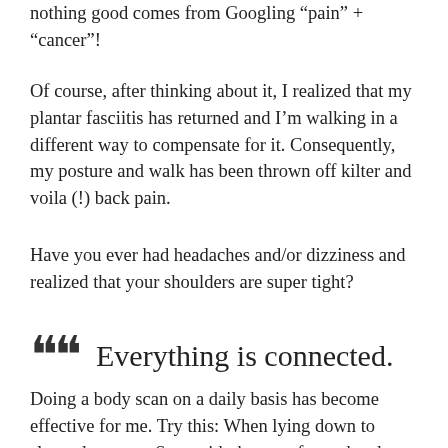nothing good comes from Googling “pain” + “cancer”!
Of course, after thinking about it, I realized that my plantar fasciitis has returned and I’m walking in a different way to compensate for it. Consequently, my posture and walk has been thrown off kilter and voila (!) back pain.
Have you ever had headaches and/or dizziness and realized that your shoulders are super tight?
““  Everything is connected.
Doing a body scan on a daily basis has become effective for me. Try this: When lying down to sleep, do a scan. Start with the top of your head, down to your temples, your shoulders, your arms and so on. Check in with your body. Relax each part as you settle in to sleep.